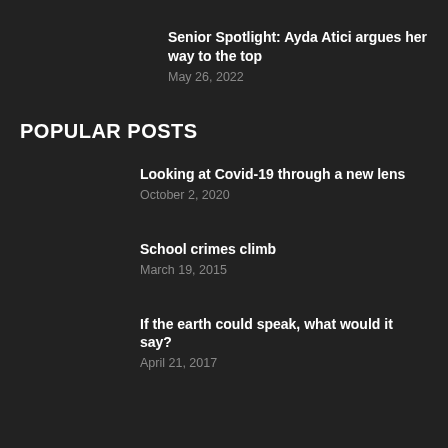Senior Spotlight: Ayda Atici argues her way to the top
May 26, 2022
POPULAR POSTS
Looking at Covid-19 through a new lens
October 2, 2020
School crimes climb
March 19, 2015
If the earth could speak, what would it say?
April 21, 2017